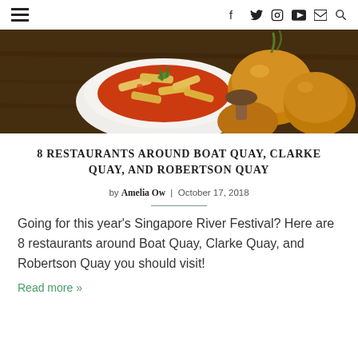≡  f  🐦  IG  ▶  ✉  🔍
[Figure (photo): Food photo showing a white bowl with pasta in red tomato sauce with herbs, alongside whole onions on a dark wooden surface]
8 RESTAURANTS AROUND BOAT QUAY, CLARKE QUAY, AND ROBERTSON QUAY
by Amelia Ow  |  October 17, 2018
Going for this year's Singapore River Festival? Here are 8 restaurants around Boat Quay, Clarke Quay, and Robertson Quay you should visit!
Read more »